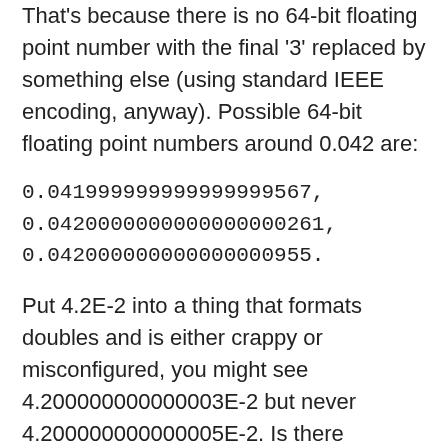That's because there is no 64-bit floating point number with the final '3' replaced by something else (using standard IEEE encoding, anyway). Possible 64-bit floating point numbers around 0.042 are:
0.041999999999999999567,
0.0420000000000000000261,
0.042000000000000000955.
Put 4.2E-2 into a thing that formats doubles and is either crappy or misconfigured, you might see 4.200000000000003E-2 but never 4.200000000000005E-2. Is there anything special about 0.042? Possibly - floats are complicated, but my gut feeling says no.